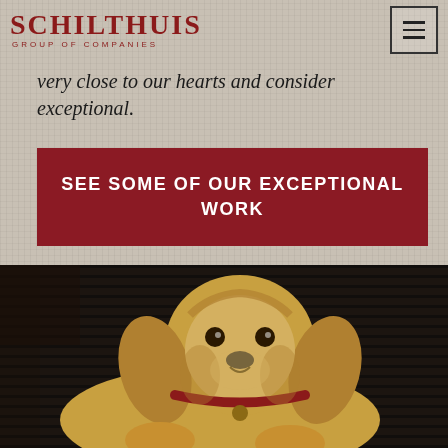[Figure (logo): Schilthuis Group of Companies logo in dark red/maroon serif font with 'GROUP OF COMPANIES' subtitle]
very close to our hearts and consider exceptional.
SEE SOME OF OUR EXCEPTIONAL WORK
[Figure (photo): A golden/cream colored cocker spaniel dog with a red collar lying on a dark striped carpet, looking directly at camera]